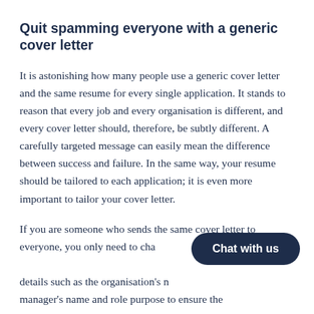Quit spamming everyone with a generic cover letter
It is astonishing how many people use a generic cover letter and the same resume for every single application. It stands to reason that every job and every organisation is different, and every cover letter should, therefore, be subtly different. A carefully targeted message can easily mean the difference between success and failure. In the same way, your resume should be tailored to each application; it is even more important to tailor your cover letter.
If you are someone who sends the same cover letter to everyone, you only need to change a few details such as the organisation's name, hiring manager's name and role purpose to ensure the